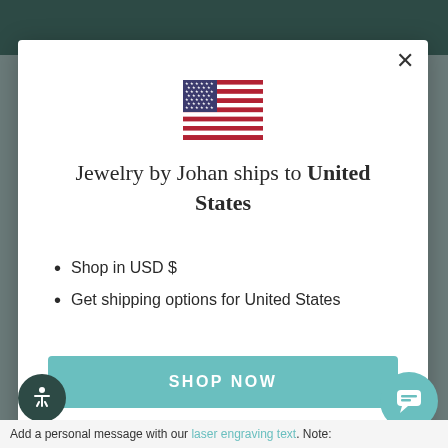[Figure (screenshot): Modal dialog on e-commerce website for Jewelry by Johan showing US flag, shipping info, shop now button]
[Figure (illustration): US flag SVG — stars and stripes]
Jewelry by Johan ships to United States
Shop in USD $
Get shipping options for United States
SHOP NOW
CHANGE SHIPPING COUNTRY
Add a personal message with our laser engraving text. Note: